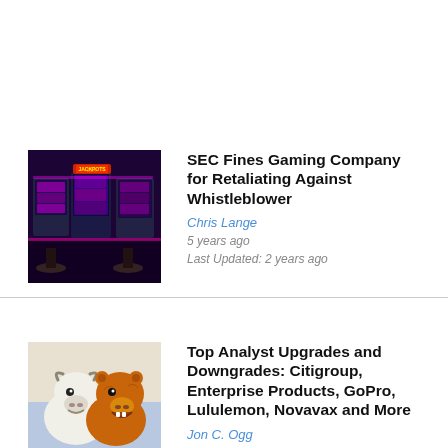[Figure (photo): Slot machines with colorful neon lights showing jackpot signs in a casino]
SEC Fines Gaming Company for Retaliating Against Whistleblower
Chris Lange
5 years ago
Last Updated: 2 years ago
[Figure (photo): Cartoon-style bull and bear figurines facing each other, representing stock market]
Top Analyst Upgrades and Downgrades: Citigroup, Enterprise Products, GoPro, Lululemon, Novavax and More
Jon C. Ogg
5 years ago
Last Updated: 2 years ago